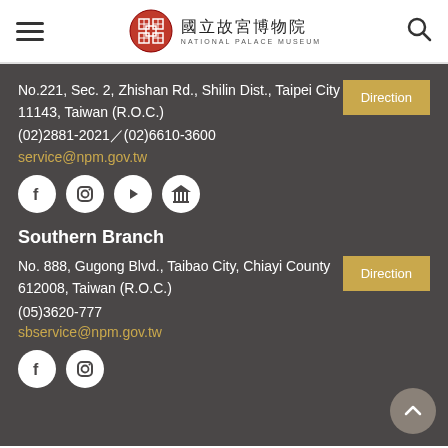National Palace Museum (国立故宫博物院) header with navigation and search
No.221, Sec. 2, Zhishan Rd., Shilin Dist., Taipei City 11143, Taiwan (R.O.C.)
(02)2881-2021／(02)6610-3600
service@npm.gov.tw
[Figure (infographic): Social media icons: Facebook, Instagram, YouTube, and museum icon, white circles on dark background]
Southern Branch
No. 888, Gugong Blvd., Taibao City, Chiayi County 612008, Taiwan (R.O.C.)
(05)3620-777
sbservice@npm.gov.tw
[Figure (infographic): Social media icons: Facebook, Instagram, white circles on dark background]